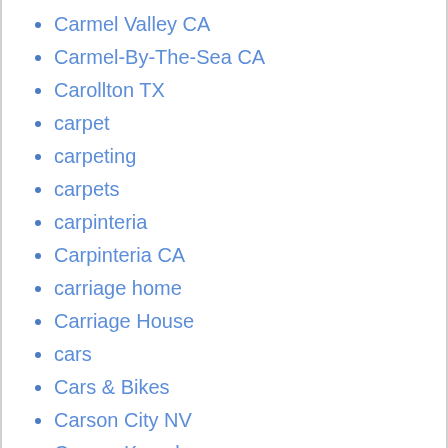Carmel Valley CA
Carmel-By-The-Sea CA
Carollton TX
carpet
carpeting
carpets
carpinteria
Carpinteria CA
carriage home
Carriage House
cars
Cars & Bikes
Carson City NV
Carson Kressley
Carter Oosterhouse
Cary NC
Casa Mami
Case Study House
Case-Shiller Index